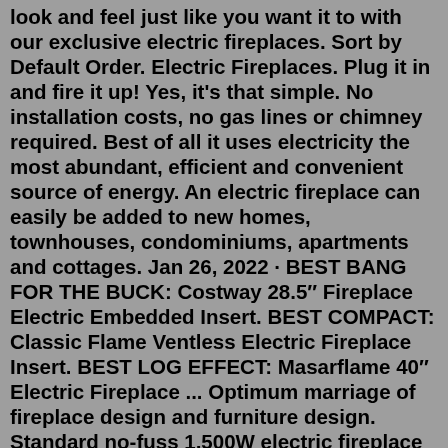look and feel just like you want it to with our exclusive electric fireplaces. Sort by Default Order. Electric Fireplaces. Plug it in and fire it up! Yes, it's that simple. No installation costs, no gas lines or chimney required. Best of all it uses electricity the most abundant, efficient and convenient source of energy. An electric fireplace can easily be added to new homes, townhouses, condominiums, apartments and cottages. Jan 26, 2022 · BEST BANG FOR THE BUCK: Costway 28.5″ Fireplace Electric Embedded Insert. BEST COMPACT: Classic Flame Ventless Electric Fireplace Insert. BEST LOG EFFECT: Masarflame 40″ Electric Fireplace ... Optimum marriage of fireplace design and furniture design. Standard no-fuss 1,500W electric fireplace with a built-in thermostat (62°F to 82°F) Very easy plug-it-in installation (120V outlet) Affordable below $1,000 price; uncommon for fireplaces, more common for fireplace mantels. Cons. Electric fireplaces have different applications: built-in (i.e. installed inside of a wall or cabinet), insert (i.e. installed in an existing